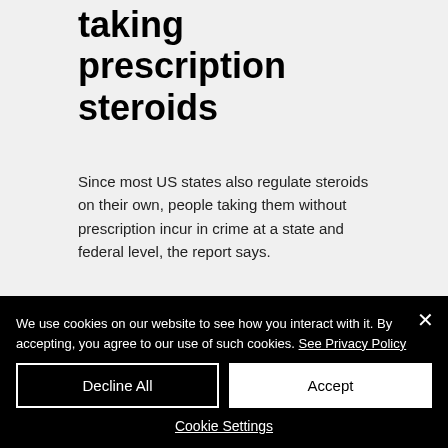How to lose weight while taking prescription steroids
Since most US states also regulate steroids on their own, people taking them without prescription incur in crime at a state and federal level, the report says.
In 2012, the International Narcotics Control Board found that more than 20 states had laws that were in violation of US obligations under the Treaty against Illicit Trafficking...
We use cookies on our website to see how you interact with it. By accepting, you agree to our use of such cookies. See Privacy Policy
Decline All
Accept
Cookie Settings